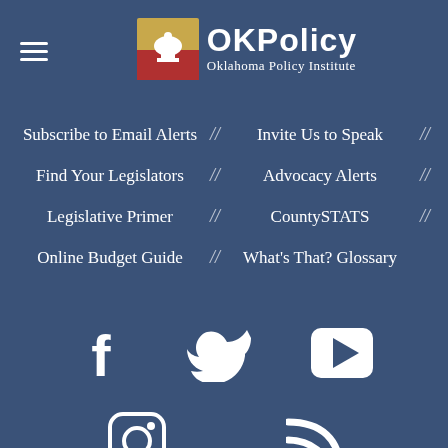[Figure (logo): OKPolicy Oklahoma Policy Institute logo with capitol building icon]
Subscribe to Email Alerts  //  Invite Us to Speak  //
Find Your Legislators  //  Advocacy Alerts  //
Legislative Primer  //  CountySTATS  //
Online Budget Guide  //  What's That? Glossary
[Figure (infographic): Social media icons: Facebook, Twitter, YouTube, Instagram, RSS feed]